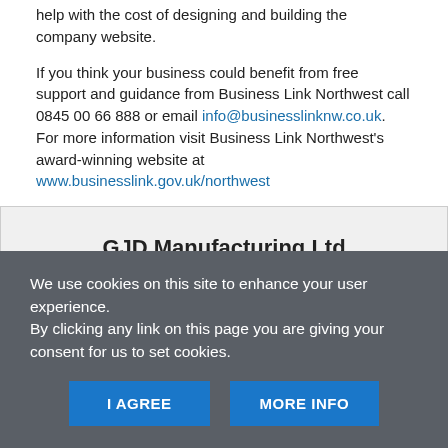help with the cost of designing and building the company website.
If you think your business could benefit from free support and guidance from Business Link Northwest call 0845 00 66 888 or email info@businesslinknw.co.uk. For more information visit Business Link Northwest's award-winning website at www.businesslink.gov.uk/northwest
GJD Manufacturing Ltd
Website
We use cookies on this site to enhance your user experience.
By clicking any link on this page you are giving your consent for us to set cookies.
I AGREE | MORE INFO